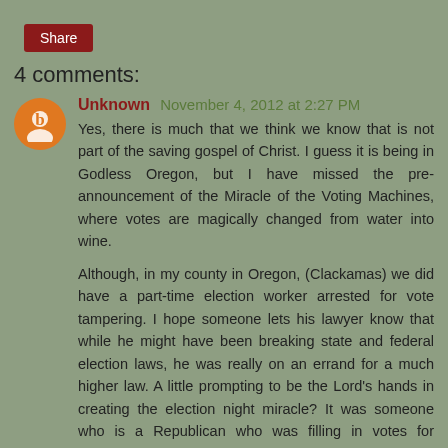Share
4 comments:
Unknown November 4, 2012 at 2:27 PM
Yes, there is much that we think we know that is not part of the saving gospel of Christ. I guess it is being in Godless Oregon, but I have missed the pre-announcement of the Miracle of the Voting Machines, where votes are magically changed from water into wine.

Although, in my county in Oregon, (Clackamas) we did have a part-time election worker arrested for vote tampering. I hope someone lets his lawyer know that while he might have been breaking state and federal election laws, he was really on an errand for a much higher law. A little prompting to be the Lord's hands in creating the election night miracle? It was someone who is a Republican who was filling in votes for Republicans, in races where the voter had not actually voted. Maybe there are thousands of these Godly men and women, laboriby